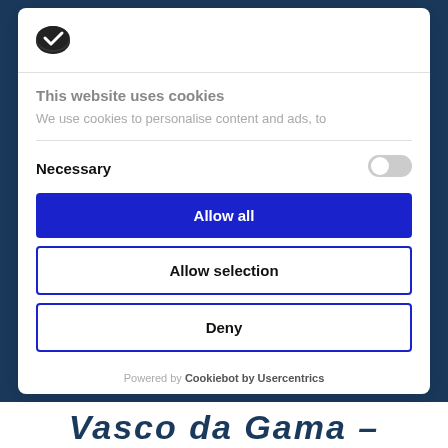[Figure (logo): Cookiebot shield logo icon in dark/black color]
This website uses cookies
We use cookies to personalise content and ads, to
Necessary
[Figure (other): Grey toggle switch in off position]
Allow all
Allow selection
Deny
Powered by Cookiebot by Usercentrics
Vasco da Gama –